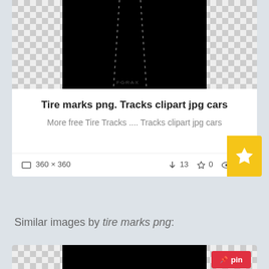[Figure (screenshot): Clipart website card showing a tire marks image thumbnail on checkered background]
Tire marks png. Tracks clipart jpg cars
More free Tire Tracks .... Tracks clipart jpg cars
360 x 360   13  0  123
Similar images by tire marks png:
[Figure (screenshot): Second clipart card showing tire skid marks image on checkered background with pin button]
Tire skid marks png. Mark official psds